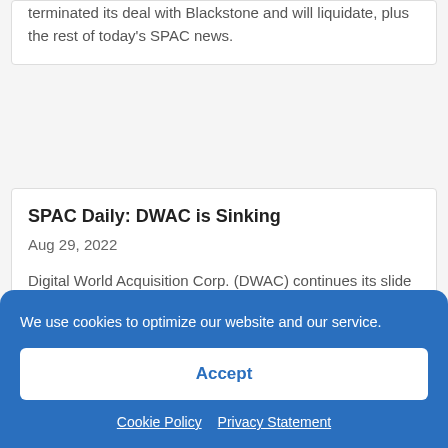terminated its deal with Blackstone and will liquidate, plus the rest of today's SPAC news.
SPAC Daily: DWAC is Sinking
Aug 29, 2022
Digital World Acquisition Corp. (DWAC) continues its slide back to reality, and the rest of the day's news in SPACs.
We use cookies to optimize our website and our service.
Accept
Cookie Policy   Privacy Statement